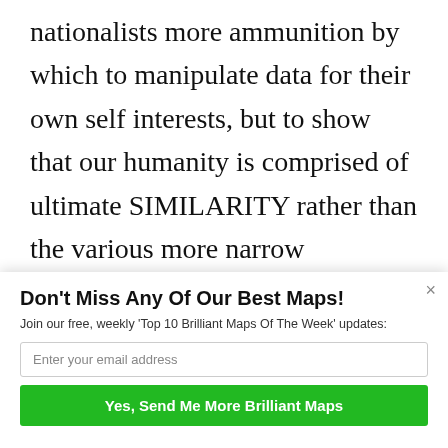nationalists more ammunition by which to manipulate data for their own self interests, but to show that our humanity is comprised of ultimate SIMILARITY rather than the various more narrow “markers” that these types of maps illustrate. Self interested nationalism with take and manipulate science data to fit their nari [SUMO] and that is very
Don't Miss Any Of Our Best Maps!
Join our free, weekly 'Top 10 Brilliant Maps Of The Week' updates:
Enter your email address
Yes, Send Me More Brilliant Maps